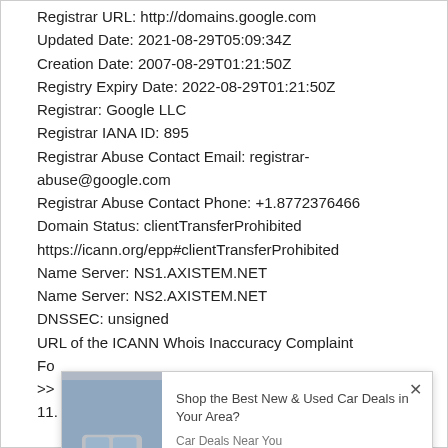Registrar URL: http://domains.google.com
Updated Date: 2021-08-29T05:09:34Z
Creation Date: 2007-08-29T01:21:50Z
Registry Expiry Date: 2022-08-29T01:21:50Z
Registrar: Google LLC
Registrar IANA ID: 895
Registrar Abuse Contact Email: registrar-abuse@google.com
Registrar Abuse Contact Phone: +1.8772376466
Domain Status: clientTransferProhibited https://icann.org/epp#clientTransferProhibited
Name Server: NS1.AXISTEM.NET
Name Server: NS2.AXISTEM.NET
DNSSEC: unsigned
URL of the ICANN Whois Inaccuracy Complaint Fo...
>>
11.
[Figure (other): Advertisement overlay showing a car image on the left and text 'Shop the Best New & Used Car Deals in Your Area?' with 'Car Deals Near You' and PurpleAds branding on the right, with an X close button.]